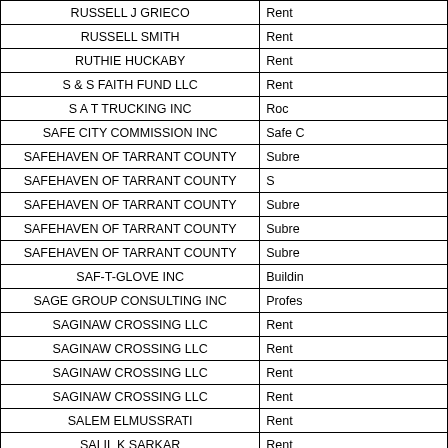| Name | Type |
| --- | --- |
| RUSSELL J GRIECO | Rent |
| RUSSELL SMITH | Rent |
| RUTHIE HUCKABY | Rent |
| S & S FAITH FUND LLC | Rent |
| S A T TRUCKING INC | Roc |
| SAFE CITY COMMISSION INC | Safe C |
| SAFEHAVEN OF TARRANT COUNTY | Subre |
| SAFEHAVEN OF TARRANT COUNTY | S |
| SAFEHAVEN OF TARRANT COUNTY | Subre |
| SAFEHAVEN OF TARRANT COUNTY | Subre |
| SAFEHAVEN OF TARRANT COUNTY | Subre |
| SAF-T-GLOVE INC | Buildin |
| SAGE GROUP CONSULTING INC | Profes |
| SAGINAW CROSSING LLC | Rent |
| SAGINAW CROSSING LLC | Rent |
| SAGINAW CROSSING LLC | Rent |
| SAGINAW CROSSING LLC | Rent |
| SALEM ELMUSSRATI | Rent |
| SALIL K SARKAR | Rent |
| SALVATORE LAMENTI | Rent |
| SAM BONIFIELD | Couns |
| SAM BONIFIELD | Couns |
| SAMANTHA HULL |  |